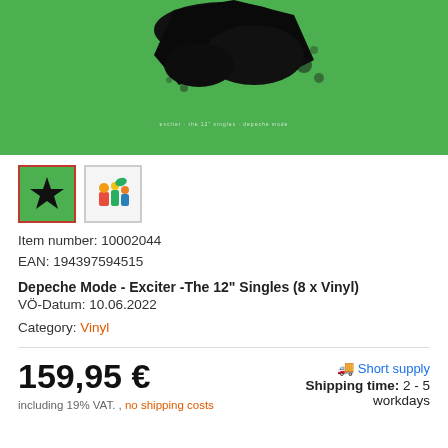[Figure (photo): Green album cover with black splash/paint artwork for Depeche Mode Exciter]
[Figure (photo): Two product thumbnails: active green one with black star, second with colorful figurines]
Item number: 10002044
EAN: 194397594515
Depeche Mode - Exciter -The 12" Singles (8 x Vinyl)
VÖ-Datum: 10.06.2022
Category: Vinyl
159,95 €
including 19% VAT. , no shipping costs
Short supply
Shipping time: 2 - 5 workdays